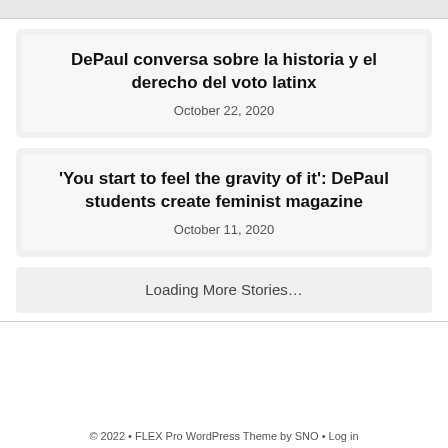DePaul conversa sobre la historia y el derecho del voto latinx
October 22, 2020
'You start to feel the gravity of it': DePaul students create feminist magazine
October 11, 2020
Loading More Stories…
© 2022 • FLEX Pro WordPress Theme by SNO • Log in